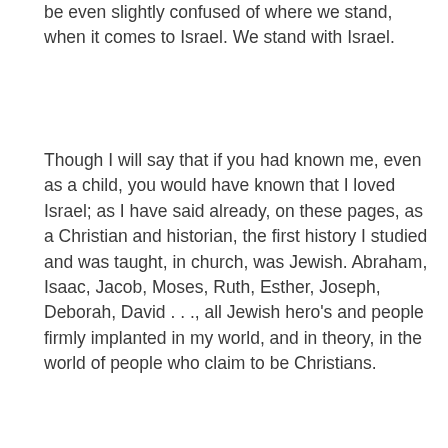be even slightly confused of where we stand, when it comes to Israel. We stand with Israel.
Though I will say that if you had known me, even as a child, you would have known that I loved Israel; as I have said already, on these pages, as a Christian and historian, the first history I studied and was taught, in church, was Jewish. Abraham, Isaac, Jacob, Moses, Ruth, Esther, Joseph, Deborah, David . . ., all Jewish hero's and people firmly implanted in my world, and in theory, in the world of people who claim to be Christians.
Also, if you have ever had a conversation with me about more than the weather and the like, or read these pages, or seen my post on social media, or looked through my libraries, you should understand that I stand with Israel.
I do not know if my interest in World War II was birthed by interest in Israel or the Late Night Movies; but by the time I was eleven, I was aware of the atrocities of the Holocaust, and remember speaking with both of my parents, at different times, trying to